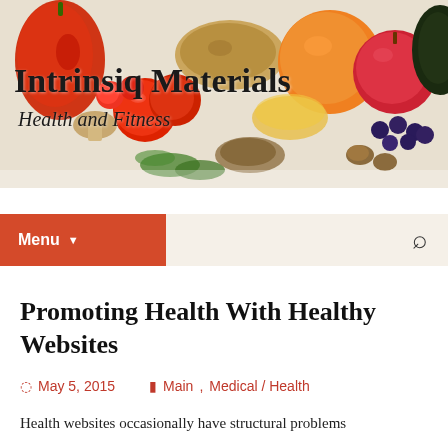[Figure (photo): Header photo of assorted fresh fruits and vegetables including tomatoes, peppers, oranges, blueberries, avocado, bread, and a bowl of oil on a white background]
Intrinsiq Materials
Health and Fitness
Menu
Promoting Health With Healthy Websites
May 5, 2015   Main, Medical / Health
Health websites occasionally have structural problems